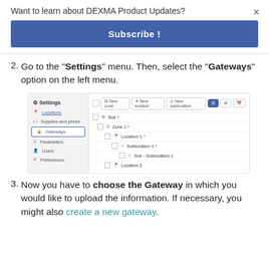Want to learn about DEXMA Product Updates?
Subscribe !
2. Go to the "Settings" menu. Then, select the "Gateways" option on the left menu.
[Figure (screenshot): Screenshot of DEXMA Settings interface showing left-side navigation menu with Settings, Locations, Supplies and prices, Gateways (highlighted/selected), Parameters, Users, Preferences; and right panel showing a hierarchy: Test > Zone 1 > Location 1 > Sublocation 1 > Sub - Sublocation 1, Location 2; with top action buttons: New zone, New location, New sublocation.]
3. Now you have to choose the Gateway in which you would like to upload the information. If necessary, you might also create a new gateway.